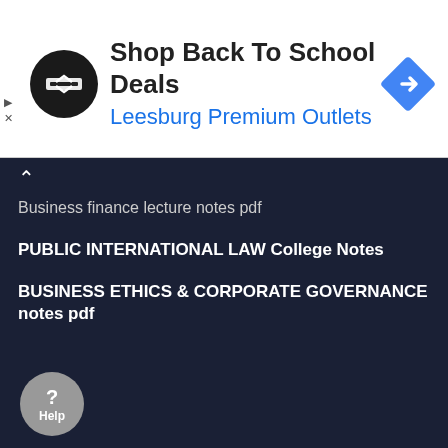[Figure (other): Advertisement banner for Leesburg Premium Outlets showing logo, text 'Shop Back To School Deals' and navigation arrow icon]
Business finance lecture notes pdf
PUBLIC INTERNATIONAL LAW College Notes
BUSINESS ETHICS & CORPORATE GOVERNANCE notes pdf
ℹ More Info About this topic online
What is International Business? · A multi-domestic company with independent subsidiaries that act as domestic firms; OR · Global operations with integrated.
Business activities done across national borders is International Business. The International business is the purchasing and selling of the goods, commodities.
national business relates to any situation where the production or distribution of goods or services crosses country borders. Globalization—the shift toward a.